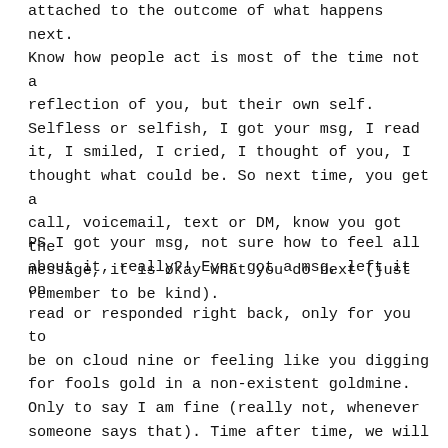attached to the outcome of what happens next. Know how people act is most of the time not a reflection of you, but their own self. Selfless or selfish, I got your msg, I read it, I smiled, I cried, I thought of you, I thought what could be. So next time, you get a call, voicemail, text or DM, know you got the message, it is okay what you do next (just remember to be kind).
PS I got your msg, not sure how to feel all about it, really?! Ever got a msg, left it on read or responded right back, only for you to be on cloud nine or feeling like you digging for fools gold in a non-existent goldmine. Only to say I am fine (really not, whenever someone says that). Time after time, we will continue to say I got your msg whether in actuality or figuratively, so got your msg, what all I can say, love, got that.